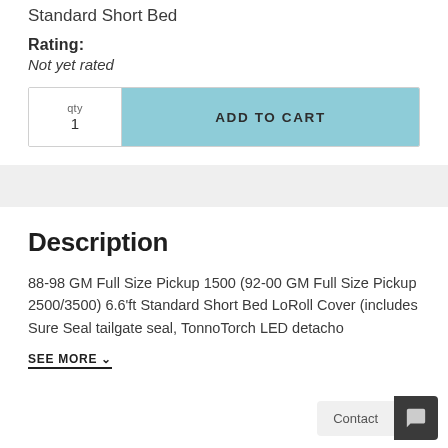Standard Short Bed
Rating:
Not yet rated
qty 1  ADD TO CART
Description
88-98 GM Full Size Pickup 1500 (92-00 GM Full Size Pickup 2500/3500) 6.6'ft Standard Short Bed LoRoll Cover (includes Sure Seal tailgate seal, TonnoTorch LED detacho
SEE MORE